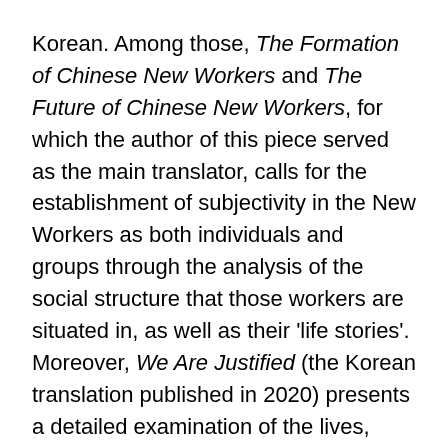Korean. Among those, The Formation of Chinese New Workers and The Future of Chinese New Workers, for which the author of this piece served as the main translator, calls for the establishment of subjectivity in the New Workers as both individuals and groups through the analysis of the social structure that those workers are situated in, as well as their 'life stories'. Moreover, We Are Justified (the Korean translation published in 2020) presents a detailed examination of the lives, work, and struggles of Chinese female workers. The fact that this book was published as part of the 'Joint Publication Project Commemorating the Fiftieth Anniversary of Chun Tae-il's Death', which was planned by